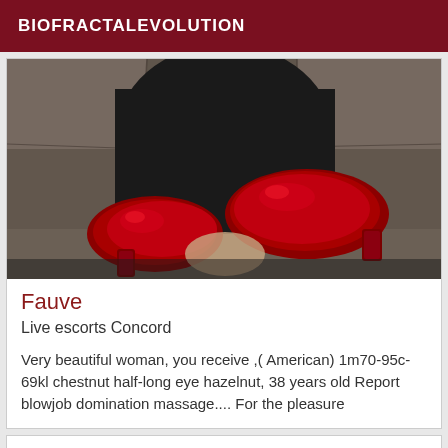BIOFRACTALEVOLUTION
[Figure (photo): Close-up photograph of red high-heel shoes from below, showing the soles against a dark background with stone/concrete texture.]
Fauve
Live escorts Concord
Very beautiful woman, you receive ,( American) 1m70-95c-69kl chestnut half-long eye hazelnut, 38 years old Report blowjob domination massage.... For the pleasure